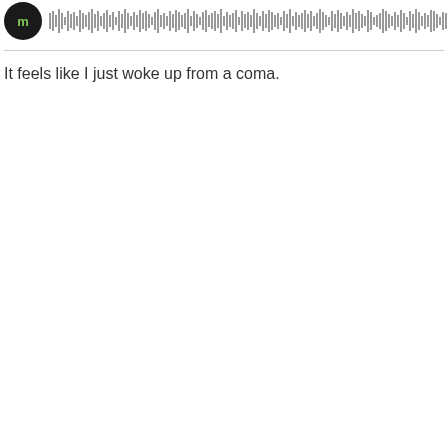[Figure (other): Audio player with circular avatar showing logo on black background and waveform/progress bar to the right]
It feels like I just woke up from a coma.